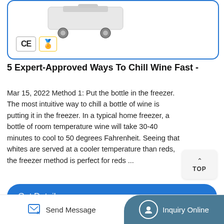[Figure (photo): Product card showing a wheeled appliance/device with CE certification badge and a gold supplier badge, inside a blue-bordered rounded rectangle card]
5 Expert-Approved Ways To Chill Wine Fast -
Mar 15, 2022 Method 1: Put the bottle in the freezer. The most intuitive way to chill a bottle of wine is putting it in the freezer. In a typical home freezer, a bottle of room temperature wine will take 30-40 minutes to cool to 50 degrees Fahrenheit. Seeing that whites are served at a cooler temperature than reds, the freezer method is perfect for reds ...
Get Details →
Send Message   Inquiry Online